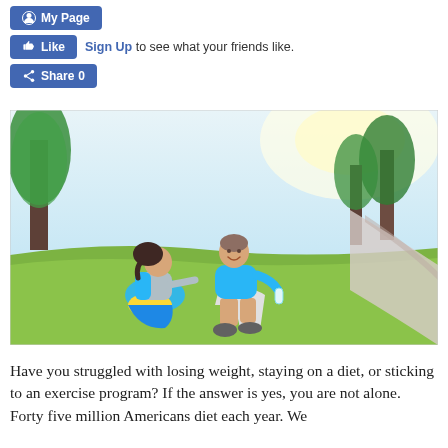[Figure (screenshot): Facebook social plugin buttons: My Page button, Like button with Sign Up text, Share button with count 0]
Sign Up to see what your friends like.
[Figure (photo): Two middle-aged people in athletic wear sitting on grass in a park after exercising, smiling and talking. A man holds a water bottle and a woman with a ponytail sits facing him. Trees and a path visible in background, sunny day.]
Have you struggled with losing weight, staying on a diet, or sticking to an exercise program? If the answer is yes, you are not alone. Forty five million Americans diet each year. We